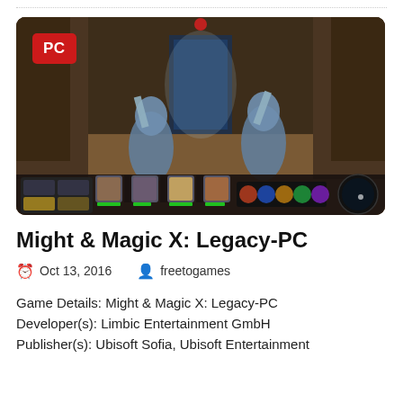[Figure (screenshot): Screenshot from Might & Magic X: Legacy game showing two snake-warrior creatures in a dungeon arena with a game HUD at the bottom showing character portraits and action icons. A red PC badge is overlaid in the top-left corner.]
Might & Magic X: Legacy-PC
Oct 13, 2016   freetogames
Game Details: Might & Magic X: Legacy-PC Developer(s): Limbic Entertainment GmbH Publisher(s): Ubisoft Sofia, Ubisoft Entertainment